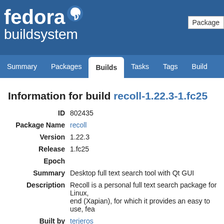fedora buildsystem — navigation: Summary, Packages, Builds, Tasks, Tags, Build
Information for build recoll-1.22.3-1.fc25
| Field | Value |
| --- | --- |
| ID | 802435 |
| Package Name | recoll |
| Version | 1.22.3 |
| Release | 1.fc25 |
| Epoch |  |
| Summary | Desktop full text search tool with Qt GUI |
| Description | Recoll is a personal full text search package for Linux, end (Xapian), for which it provides an easy to use, fea |
| Built by | terjeros |
| State | complete |
| Volume | fedora_koji_archive01 |
| Started | Mon, 19 Sep 2016 18:28:05 UTC |
| Completed | Mon, 19 Sep 2016 18:52:35 UTC |